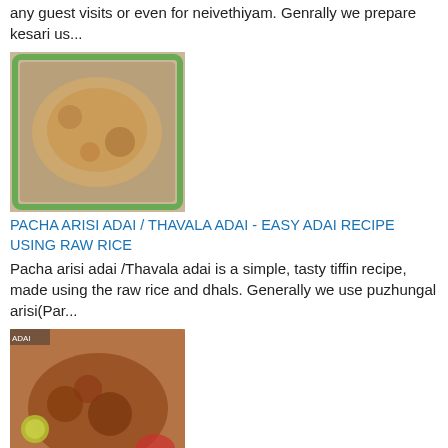any guest visits or even for neivethiyam. Genrally we prepare kesari us...
[Figure (photo): Photo of pacha arisi adai on a green plate]
PACHA ARISI ADAI / THAVALA ADAI - EASY ADAI RECIPE USING RAW RICE
Pacha arisi adai /Thavala adai is a simple, tasty tiffin recipe, made using the raw rice and dhals. Generally we use puzhungal arisi(Par...
[Figure (photo): Photo of bitter gourd pakoda with sauce and lime]
BITTER GOURD PAKODA/ PAAGARKAAI PAKODA RECIPE- பாகற்காய் பகோடா
Bittergourd pakoda is a healthy at the same time awesome snack recipe to munch with evening tea. Generally most of us are little hesit...
[Figure (photo): Photo of round fried sweets in a pink basket]